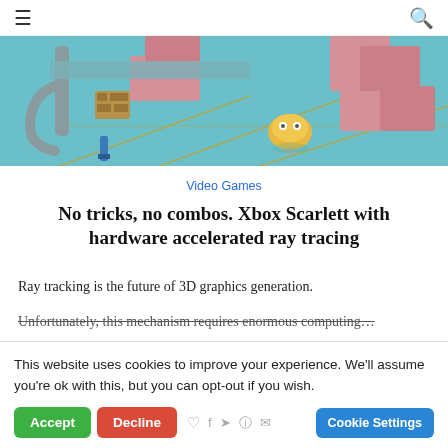≡  🔍
[Figure (illustration): 3D render of a stylized industrial/factory scene with teal floor, pink box shapes, a yellow robot character, pipes and mechanical arms, gold grid lines on the floor]
Video Games
No tricks, no combos. Xbox Scarlett with hardware accelerated ray tracing
Ray tracking is the future of 3D graphics generation. Unfortunately, this mechanism requires enormous computing…
This website uses cookies to improve your experience. We'll assume you're ok with this, but you can opt-out if you wish.